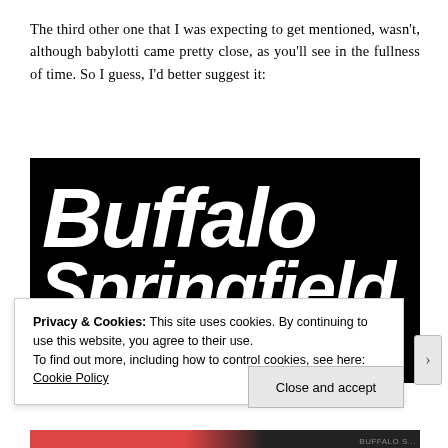The third other one that I was expecting to get mentioned, wasn't, although babylotti came pretty close, as you'll see in the fullness of time. So I guess, I'd better suggest it:
[Figure (logo): Black background with white bold italic stylized text reading 'Buffalo Springfield' in two lines — 'Buffalo' on top and 'Springfield' below, in a heavy retro font.]
Privacy & Cookies: This site uses cookies. By continuing to use this website, you agree to their use.
To find out more, including how to control cookies, see here: Cookie Policy